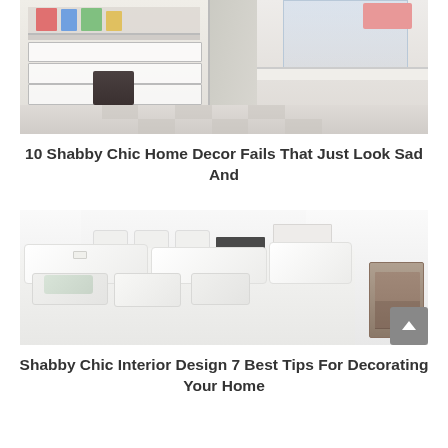[Figure (photo): A children's room with white built-in shelves and drawers containing books, toys and shoes, with a colorful bedspread visible in background and a large white desk surface on the right.]
10 Shabby Chic Home Decor Fails That Just Look Sad And
[Figure (photo): A bright all-white shabby chic living room with large overstuffed white sofas and cushions, white dining chairs in the background, open plan kitchen, and a rustic wooden cabinet on the right side. A scroll-up button is visible in the bottom right corner.]
Shabby Chic Interior Design 7 Best Tips For Decorating Your Home